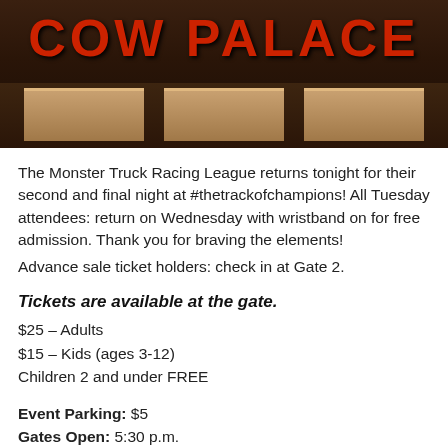[Figure (photo): Cow Palace arena sign — large red letters spelling COW PALACE on a dark brown wooden structure with panel sections visible below]
The Monster Truck Racing League returns tonight for their second and final night at #thetrackofchampions! All Tuesday attendees: return on Wednesday with wristband on for free admission. Thank you for braving the elements! Advance sale ticket holders: check in at Gate 2.
Tickets are available at the gate.
$25 – Adults
$15 – Kids (ages 3-12)
Children 2 and under FREE
Event Parking: $5
Gates Open: 5:30 p.m.
Pit Party: 6-7 p.m.